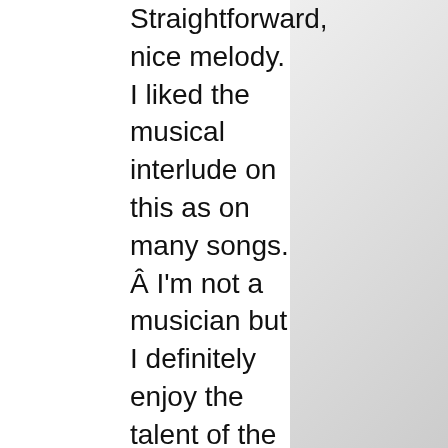Straightforward, nice melody. I liked the musical interlude on this as on many songs. Â I'm not a musician but I definitely enjoy the talent of the players on this album.
Never Say Goodbye – The instruments on this track are quite a departure, as is I guess the subject (dealing with someone's parting). Â The melody and vocals are still the lovely, distinctly Carolyn, but the